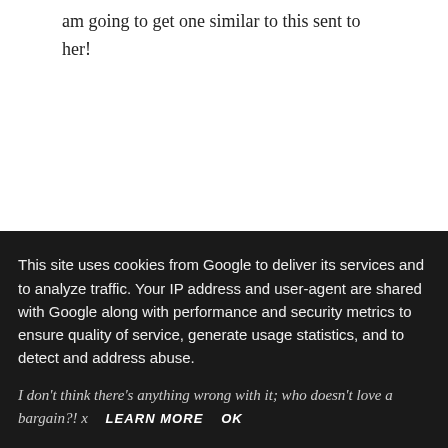am going to get one similar to this sent to her!
19 Comments
Anonymous said...
This site uses cookies from Google to deliver its services and to analyze traffic. Your IP address and user-agent are shared with Google along with performance and security metrics to ensure quality of service, generate usage statistics, and to detect and address abuse.
I don't think there's anything wrong with it; who doesn't love a bargain?! x
LEARN MORE   OK